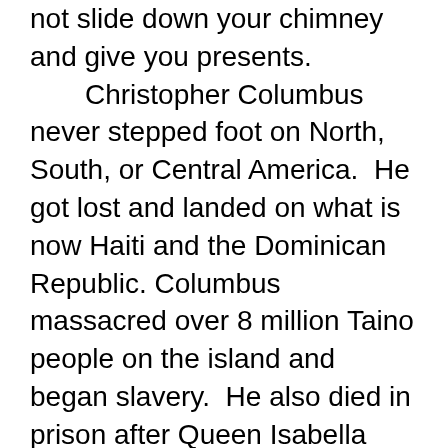not slide down your chimney and give you presents. Christopher Columbus never stepped foot on North, South, or Central America. He got lost and landed on what is now Haiti and the Dominican Republic. Columbus massacred over 8 million Taino people on the island and began slavery. He also died in prison after Queen Isabella caught him stealing from her. Thanksgiving does not commemorate the peaceful meals shared between the Native People and the Pilgrims. The Pilgrims invited the Native People to eat with them and then slaughtered every man, woman, child, and baby. After committing these heinous